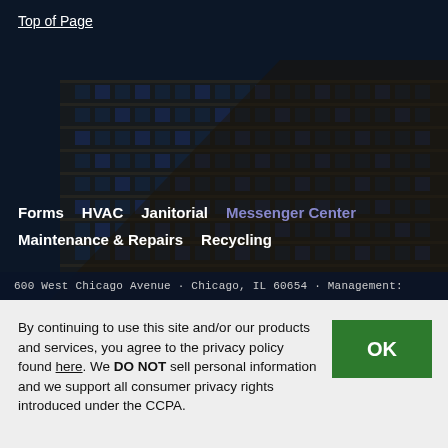Top of Page
[Figure (photo): Nighttime photo of a large multi-story office building with dark navy blue sky background. The building facade shows many windows lit from inside.]
Forms  HVAC  Janitorial  Messenger Center  Maintenance & Repairs  Recycling
600 West Chicago Avenue · Chicago, IL 60654 · Management:
By continuing to use this site and/or our products and services, you agree to the privacy policy found here. We DO NOT sell personal information and we support all consumer privacy rights introduced under the CCPA.